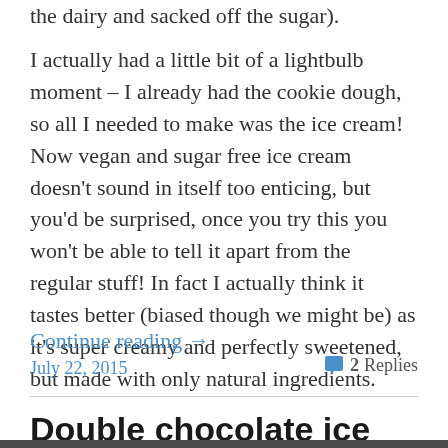the dairy and sacked off the sugar).
I actually had a little bit of a lightbulb moment – I already had the cookie dough, so all I needed to make was the ice cream! Now vegan and sugar free ice cream doesn't sound in itself too enticing, but you'd be surprised, once you try this you won't be able to tell it apart from the regular stuff! In fact I actually think it tastes better (biased though we might be) as it's super creamy and perfectly sweetened, but made with only natural ingredients.
Continue reading →
July 22, 2015
2 Replies
Double chocolate ice lollies
[Figure (photo): Dark background image at the bottom of the page, partially visible]